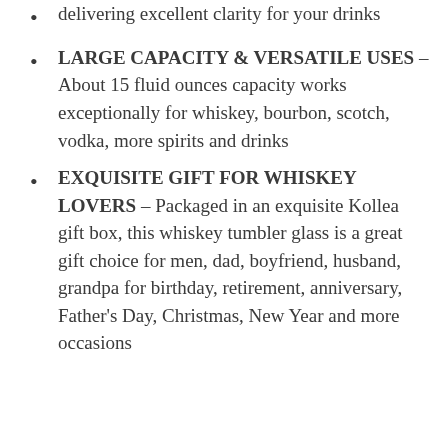delivering excellent clarity for your drinks
LARGE CAPACITY & VERSATILE USES – About 15 fluid ounces capacity works exceptionally for whiskey, bourbon, scotch, vodka, more spirits and drinks
EXQUISITE GIFT FOR WHISKEY LOVERS – Packaged in an exquisite Kollea gift box, this whiskey tumbler glass is a great gift choice for men, dad, boyfriend, husband, grandpa for birthday, retirement, anniversary, Father's Day, Christmas, New Year and more occasions